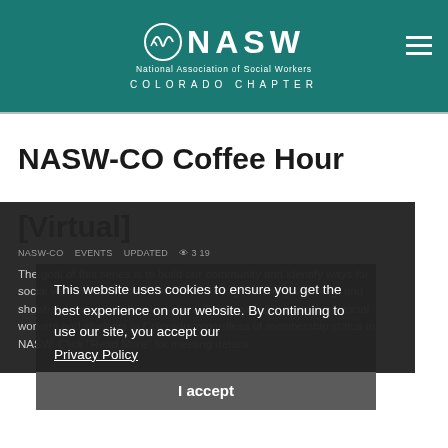NASW National Association of Social Workers COLORADO CHAPTER
NASW-CO Coffee Hour [Virtual]
The goal of this series is to build our community and identify ways for social workers to support each other through listening, learning, and showing up as our authentic selves. This meeting is open to all social workers and students in Colorado, regardless of membership status in NASW. Click "Read More" for meeting details.
This website uses cookies to ensure you get the best experience on our website. By continuing to use our site, you accept our Privacy Policy
I accept